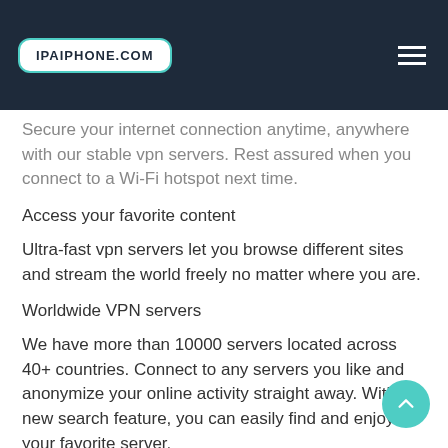IPAIPHONE.COM
Secure your internet connection anytime, anywhere with our stable vpn servers. Rest assured when you connect to a Wi-Fi hotspot next time.
Access your favorite content
Ultra-fast vpn servers let you browse different sites and stream the world freely no matter where you are.
Worldwide VPN servers
We have more than 10000 servers located across 40+ countries. Connect to any servers you like and anonymize your online activity straight away. With the new search feature, you can easily find and enjoy your favorite server.
Stable and fast connection
A large amount of VPN servers to ensure you a better private...